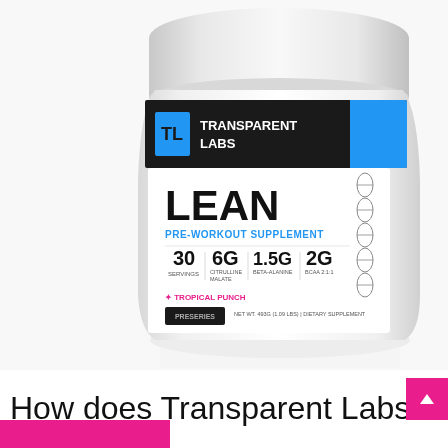[Figure (photo): White supplement container labeled 'Transparent Labs LEAN Pre-Workout Supplement' with Tropical Punch flavor. The label shows 30 servings, 6G Citrulline Malate, 1.5G Beta-Alanine, 2G BCAA 2:1:1. PreSeries branding. Net wt. 493G (1.09 LBS) Dietary Supplement.]
How does Transparent Labs